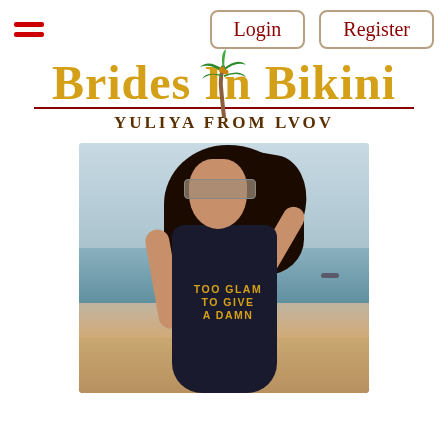Login  Register
Brides In Bikini
YULIYA FROM LVOV
[Figure (photo): Young woman in a black one-piece swimsuit with gold text reading 'TOO GLAM TO GIVE A DAMN', standing on a beach with ocean and sky in background, wearing sunglasses, hair blowing in wind.]